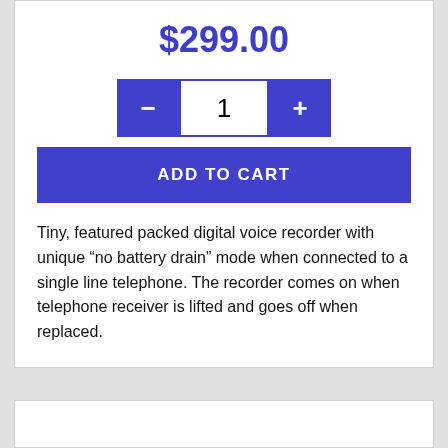$299.00
[Figure (other): Quantity selector with minus button, quantity input showing 1, and plus button, followed by an ADD TO CART button]
Tiny, featured packed digital voice recorder with unique “no battery drain” mode when connected to a single line telephone. The recorder comes on when telephone receiver is lifted and goes off when replaced.